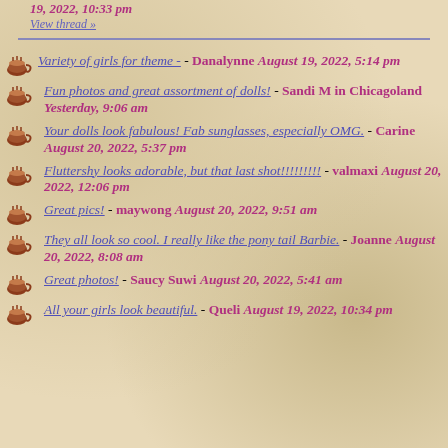19, 2022, 10:33 pm
View thread »
Variety of girls for theme - - Danalynne August 19, 2022, 5:14 pm
Fun photos and great assortment of dolls! - Sandi M in Chicagoland Yesterday, 9:06 am
Your dolls look fabulous! Fab sunglasses, especially OMG. - Carine August 20, 2022, 5:37 pm
Fluttershy looks adorable, but that last shot!!!!!!!!! - valmaxi August 20, 2022, 12:06 pm
Great pics! - maywong August 20, 2022, 9:51 am
They all look so cool. I really like the pony tail Barbie. - Joanne August 20, 2022, 8:08 am
Great photos! - Saucy Suwi August 20, 2022, 5:41 am
All your girls look beautiful. - Queli August 19, 2022, 10:34 pm